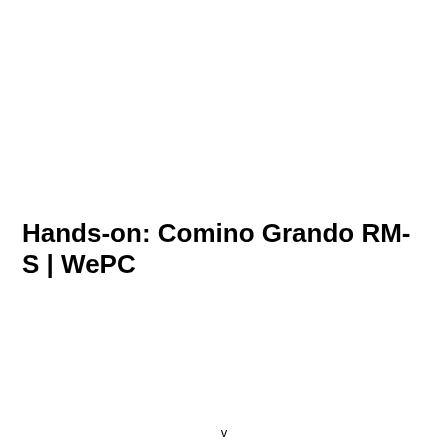Hands-on: Comino Grando RM-S  | WePC
v